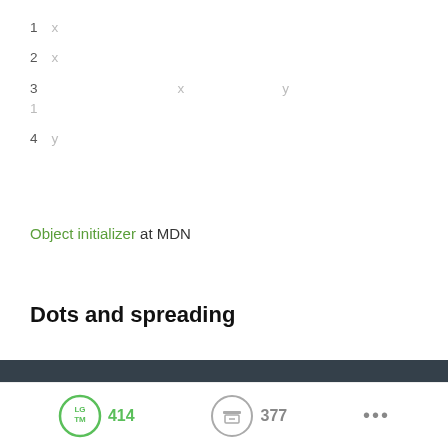1　x
2　x
3　　　　　　　　　　x　　　　　　　y　　　　　　　　　　　　　　　1
4　y
Object initializer at MDN
Dots and spreading
[Figure (screenshot): Dark code block showing: [...[...'...']].length // -> 3]
3
LGTM 414   377   ...